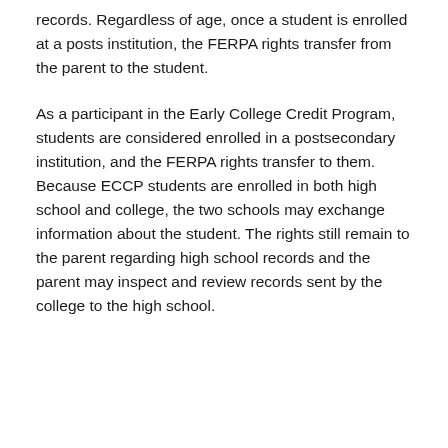records. Regardless of age, once a student is enrolled at a posts institution, the FERPA rights transfer from the parent to the student.
As a participant in the Early College Credit Program, students are considered enrolled in a postsecondary institution, and the FERPA rights transfer to them. Because ECCP students are enrolled in both high school and college, the two schools may exchange information about the student. The rights still remain to the parent regarding high school records and the parent may inspect and review records sent by the college to the high school.